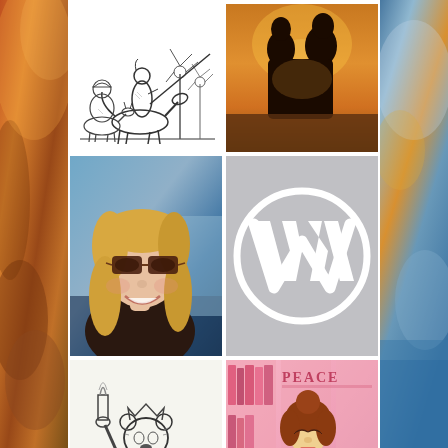[Figure (photo): Left side background: warm orange/golden sky and rocky coastal scene]
[Figure (photo): Right side background: blue-toned sky, clouds, and ocean scene]
[Figure (illustration): Top-left: Black and white sketch illustration of Don Quixote and Sancho Panza with windmills in the background]
[Figure (photo): Top-right: Silhouette of two people facing each other in profile against a golden sunset sky]
[Figure (photo): Middle-left: Selfie photo of a woman with blonde hair, sunglasses, smiling, taken in a car]
[Figure (logo): Middle-right: WordPress logo (white W in a circle) on a gray background]
[Figure (illustration): Bottom-left: Pencil sketch illustration of a bear dressed as the Statue of Liberty holding a torch]
[Figure (illustration): Bottom-right: Animated cartoon illustration of Belle from Beauty and the Beast reading a book, with pink bookshelves in background, 'PEACE' text visible]